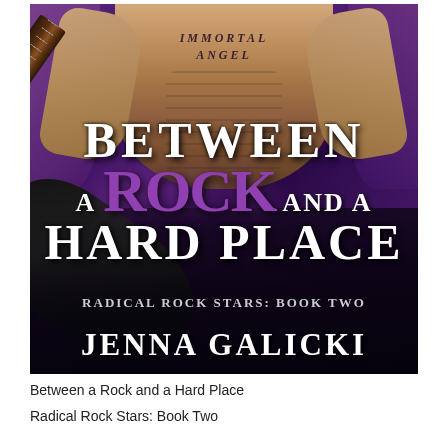[Figure (illustration): Book cover for 'Between a Rock and a Hard Place' by Jenna Galicki. Shows a shirtless male torso with 'Immortal Angel' tattoo on chest, lying on purple fabric, holding an electric guitar. Large stylized title text overlays the image. Bottom shows series name and author name.]
Between a Rock and a Hard Place
Radical Rock Stars: Book Two